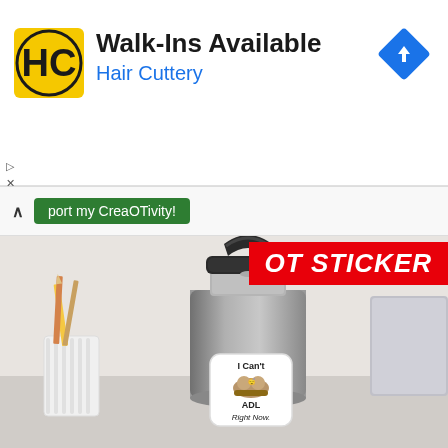[Figure (screenshot): Advertisement banner for Hair Cuttery showing logo, Walk-Ins Available text, blue navigation arrow icon, and ad controls]
Walk-Ins Available
Hair Cuttery
port my CreaOTivity!
[Figure (photo): A gray stainless steel water bottle with a black handle lid, sitting on a desk near pencils in a white cup and a laptop. A sticker on the bottle depicts a cartoon sloth hanging on a branch with text reading 'I Can't ADL Right Now.' The image has a red OT STICKER label in the top right corner.]